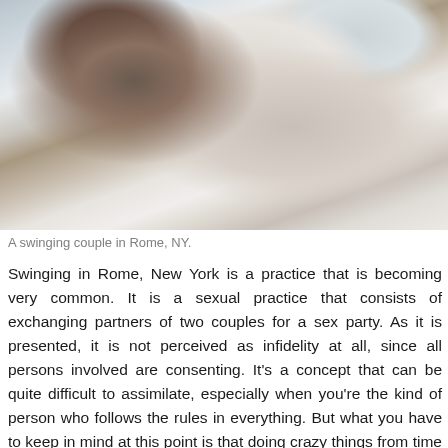[Figure (photo): A couple lying in bed together on white pillows and sheets. A woman with dark hair is propped up smiling, touching a man's face with her finger. The man is lying on his back looking up at her.]
A swinging couple in Rome, NY.
Swinging in Rome, New York is a practice that is becoming very common. It is a sexual practice that consists of exchanging partners of two couples for a sex party. As it is presented, it is not perceived as infidelity at all, since all persons involved are consenting. It's a concept that can be quite difficult to assimilate, especially when you're the kind of person who follows the rules in everything. But what you have to keep in mind at this point is that doing crazy things from time to time is essential to being happy and fulfilled.